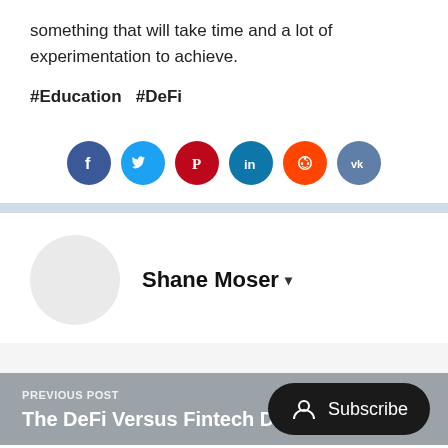something that will take time and a lot of experimentation to achieve.
#Education  #DeFi
[Figure (infographic): Row of social media share buttons: Facebook (dark blue), Twitter (light blue), Pinterest (red), LinkedIn (teal/blue), Reddit (orange), VK (gray-blue)]
Shane Moser ▾
PREVIOUS POST
The DeFi Versus Fintech Debate